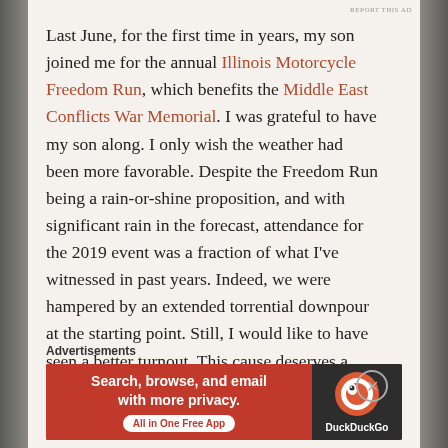Last June, for the first time in years, my son joined me for the annual Illinois Motorcycle Freedom Run, which benefits the Middle East Conflicts War Memorial. I was grateful to have my son along. I only wish the weather had been more favorable. Despite the Freedom Run being a rain-or-shine proposition, and with significant rain in the forecast, attendance for the 2019 event was a fraction of what I've witnessed in past years. Indeed, we were hampered by an extended torrential downpour at the starting point. Still, I would like to have seen a better turnout. This cause deserves a better turnout. That's why I was
Advertisements
[Figure (illustration): DuckDuckGo advertisement banner. Left side is red with white text: 'Search, browse, and email with more privacy.' and a white button 'All in One Free App'. Right side is dark with the DuckDuckGo logo and text 'DuckDuckGo'.]